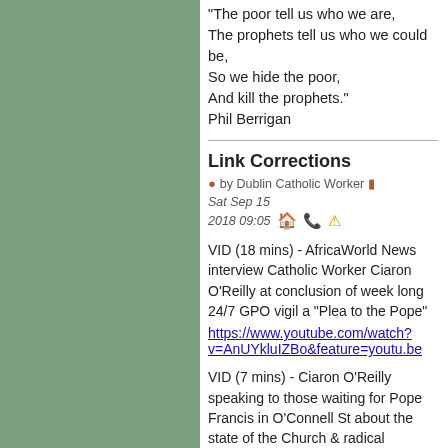"The poor tell us who we are,
The prophets tell us who we could be,
So we hide the poor,
And kill the prophets."
Phil Berrigan
Link Corrections
by Dublin Catholic Worker  Sat Sep 15 2018 09:05
VID (18 mins) - AfricaWorld News interview Catholic Worker Ciaron O'Reilly at conclusion of week long 24/7 GPO vigil a "Plea to the Pope"
https://www.youtube.com/watch?v=AnUYkluIZBo&feature=youtu.be
VID (7 mins) - Ciaron O'Reilly speaking to those waiting for Pope Francis in O'Connell St about the state of the Church & radical discipleship.
https://www.youtube.com/watch?v=kU24mGxGLnM&feature=youtu.be
VID (4 mins) - Ciaron O'Reilly reads out the "Plea to the Pope" to waiting crowd on O'Connell St.
tinyurl.com/y7b3v2f6